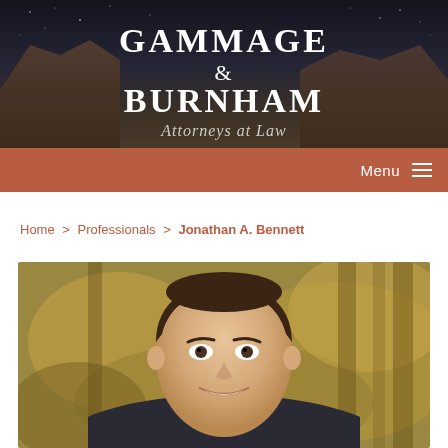[Figure (logo): Gammage & Burnham Attorneys at Law logo/header banner with dark night sky and red rock background]
Menu ☰
Home > Professionals > Jonathan A. Bennett
[Figure (photo): Professional headshot photo of Jonathan A. Bennett, a man with short dark hair, smiling, wearing a dark suit, with a blurred outdoor background]